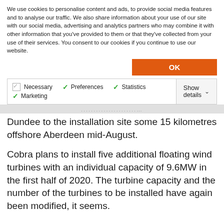We use cookies to personalise content and ads, to provide social media features and to analyse our traffic. We also share information about your use of our site with our social media, advertising and analytics partners who may combine it with other information that you've provided to them or that they've collected from your use of their services. You consent to our cookies if you continue to use our website.
OK
| Necessary | Preferences | Statistics | Show details |
| Marketing |  |  |  |
Dundee to the installation site some 15 kilometres offshore Aberdeen mid-August.
Cobra plans to install five additional floating wind turbines with an individual capacity of 9.6MW in the first half of 2020. The turbine capacity and the number of the turbines to be installed have again been modified, it seems.